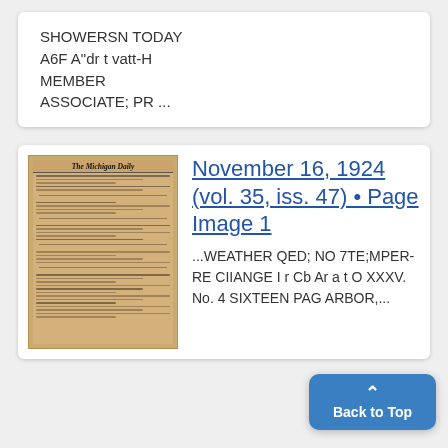SHOWERSN TODAY
A6F A"dr t vatt-H
MEMBER
ASSOCIATE; PR ...
[Figure (photo): Thumbnail of The Michigan Daily newspaper front page, aged yellowed paper]
November 16, 1924 (vol. 35, iss. 47) • Page Image 1
...WEATHER QED; NO 7TE;MPER- RE CIIANGE I r Cb Ar a t O XXXV. No. 4 SIXTEEN PAG ARBOR,...